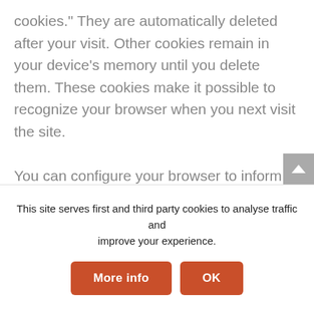cookies.” They are automatically deleted after your visit. Other cookies remain in your device’s memory until you delete them. These cookies make it possible to recognize your browser when you next visit the site.

You can configure your browser to inform you about the use of cookies so that you can decide on a case-by-case basis whether to accept or reject a cookie. Alternatively, your browser can be configured to automatically accept cookies under certain conditions or to always reject them, or to
This site serves first and third party cookies to analyse traffic and improve your experience.